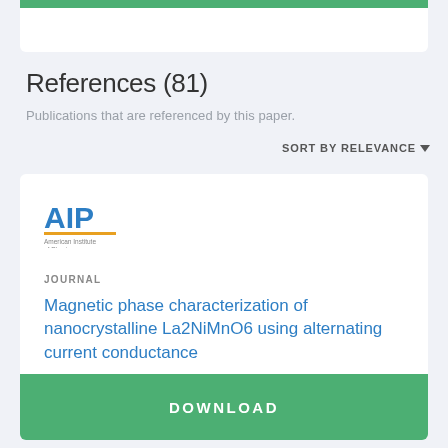References (81)
Publications that are referenced by this paper.
SORT BY RELEVANCE ▾
[Figure (logo): AIP American Institute of Physics logo]
JOURNAL
Magnetic phase characterization of nanocrystalline La2NiMnO6 using alternating current conductance
2015 | American Institute of Physics Inc.
DOWNLOAD